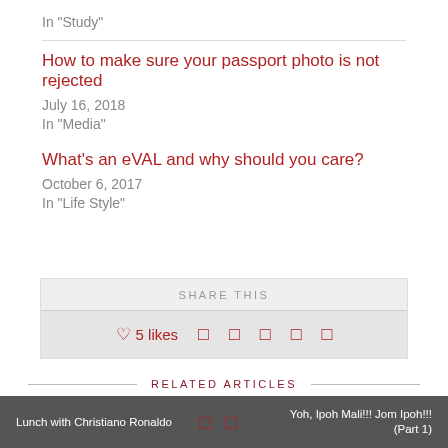In "Study"
How to make sure your passport photo is not rejected
July 16, 2018
In "Media"
What's an eVAL and why should you care?
October 6, 2017
In "Life Style"
SHARE THIS
5 likes
RELATED ARTICLES
10 COMMENTS
Abu Musa
Lunch with Christiano Ronaldo   Yoh, Ipoh Mali!!! Jom Ipoh!!! (Part 1)